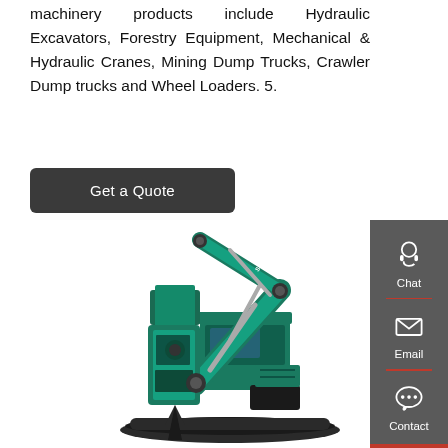machinery products include Hydraulic Excavators, Forestry Equipment, Mechanical & Hydraulic Cranes, Mining Dump Trucks, Crawler Dump trucks and Wheel Loaders. 5.
[Figure (other): Dark gray button with white text reading 'Get a Quote' with rounded corners]
[Figure (photo): A teal/green Sunward hydraulic excavator with a hydraulic breaker attachment, shown against a white background. The machine features a large boom arm, cab, and tracked undercarriage.]
[Figure (infographic): Dark gray sidebar with three contact options: Chat (headset icon), Email (envelope icon), Contact (speech bubble icon), separated by red horizontal dividers. Red bar at bottom.]